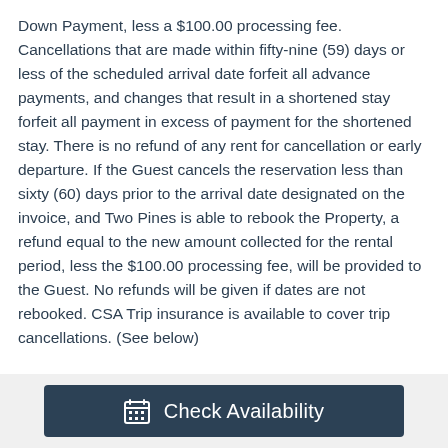Down Payment, less a $100.00 processing fee. Cancellations that are made within fifty-nine (59) days or less of the scheduled arrival date forfeit all advance payments, and changes that result in a shortened stay forfeit all payment in excess of payment for the shortened stay. There is no refund of any rent for cancellation or early departure. If the Guest cancels the reservation less than sixty (60) days prior to the arrival date designated on the invoice, and Two Pines is able to rebook the Property, a refund equal to the new amount collected for the rental period, less the $100.00 processing fee, will be provided to the Guest. No refunds will be given if dates are not rebooked. CSA Trip insurance is available to cover trip cancellations. (See below)
[Figure (other): Check Availability button with calendar icon, dark navy background]